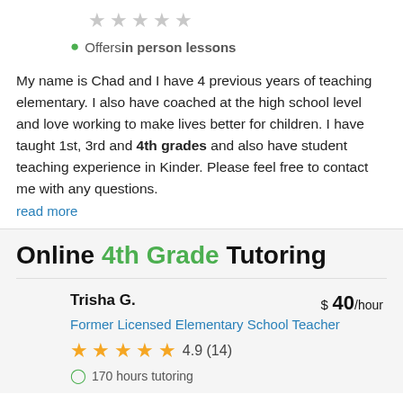[Figure (other): Five gray empty stars in a row]
Offers in person lessons
My name is Chad and I have 4 previous years of teaching elementary. I also have coached at the high school level and love working to make lives better for children. I have taught 1st, 3rd and 4th grades and also have student teaching experience in Kinder. Please feel free to contact me with any questions.
read more
Online 4th Grade Tutoring
Trisha G.
$ 40/hour
Former Licensed Elementary School Teacher
[Figure (other): Five gold stars rating]
4.9 (14)
170 hours tutoring